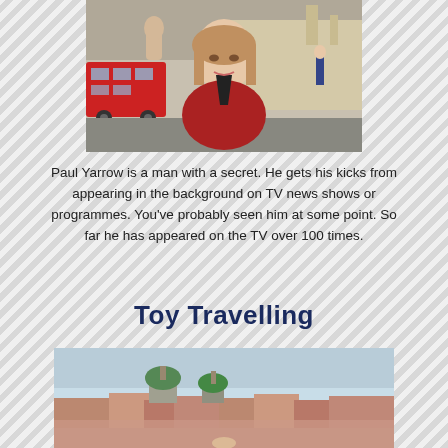[Figure (photo): Woman in red jacket speaking on TV news, with a red bus and people in background on a London street]
Paul Yarrow is a man with a secret. He gets his kicks from appearing in the background on TV news shows or programmes. You've probably seen him at some point. So far he has appeared on the TV over 100 times.
Toy Travelling
[Figure (photo): Panoramic cityscape photo showing rooftops and green-domed churches, likely Prague or a Central European city, with a light blue sky]